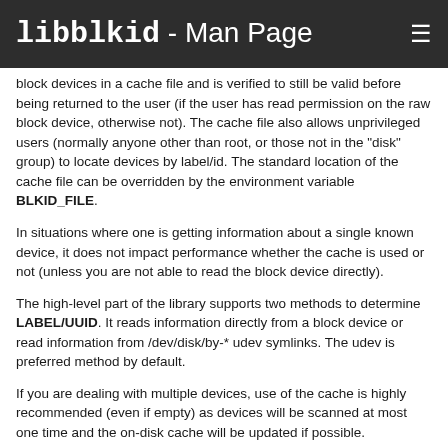libblkid - Man Page
block devices in a cache file and is verified to still be valid before being returned to the user (if the user has read permission on the raw block device, otherwise not). The cache file also allows unprivileged users (normally anyone other than root, or those not in the "disk" group) to locate devices by label/id. The standard location of the cache file can be overridden by the environment variable BLKID_FILE.
In situations where one is getting information about a single known device, it does not impact performance whether the cache is used or not (unless you are not able to read the block device directly).
The high-level part of the library supports two methods to determine LABEL/UUID. It reads information directly from a block device or read information from /dev/disk/by-* udev symlinks. The udev is preferred method by default.
If you are dealing with multiple devices, use of the cache is highly recommended (even if empty) as devices will be scanned at most one time and the on-disk cache will be updated if possible.